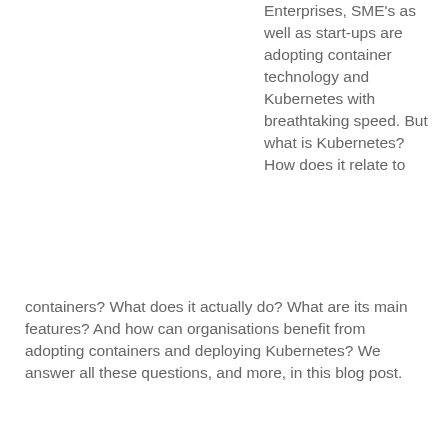Enterprises, SME's as well as start-ups are adopting container technology and Kubernetes with breathtaking speed. But what is Kubernetes? How does it relate to containers? What does it actually do? What are its main features? And how can organisations benefit from adopting containers and deploying Kubernetes? We answer all these questions, and more, in this blog post.
More...
Top 7 benefits of using containers
April 3rd, 2017